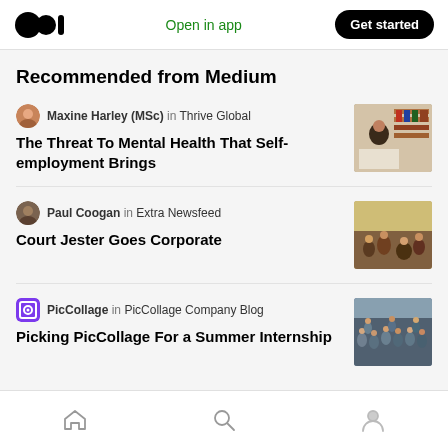Open in app | Get started
Recommended from Medium
Maxine Harley (MSc) in Thrive Global
The Threat To Mental Health That Self-employment Brings
[Figure (photo): Woman at a desk with bookshelves behind her]
Paul Coogan in Extra Newsfeed
Court Jester Goes Corporate
[Figure (photo): Classic painting scene with many figures]
PicCollage in PicCollage Company Blog
Picking PicCollage For a Summer Internship
[Figure (photo): Group photo of people posing together]
Home | Search | Profile